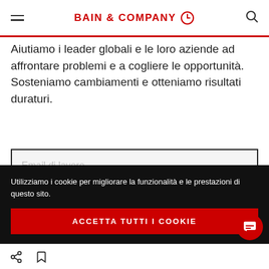BAIN & COMPANY
Aiutiamo i leader globali e le loro aziende ad affrontare problemi e a cogliere le opportunità. Sosteniamo cambiamenti e otteniamo risultati duraturi.
Email di lavoro
Utilizziamo i cookie per migliorare la funzionalità e le prestazioni di questo sito.
ACCETTA TUTTI I COOKIE